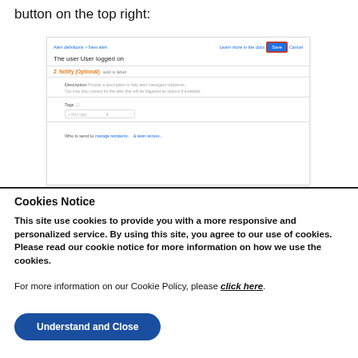button on the top right:
[Figure (screenshot): Screenshot of a form interface showing 'New alert' with breadcrumb 'Alert definitions > New alert', title 'The user User logged on', a Notify (Optional) section, Description field, Tags field, and a Save button highlighted with a red border in the top right.]
Cookies Notice
This site use cookies to provide you with a more responsive and personalized service. By using this site, you agree to our use of cookies. Please read our cookie notice for more information on how we use the cookies.
For more information on our Cookie Policy, please click here.
Understand and Close